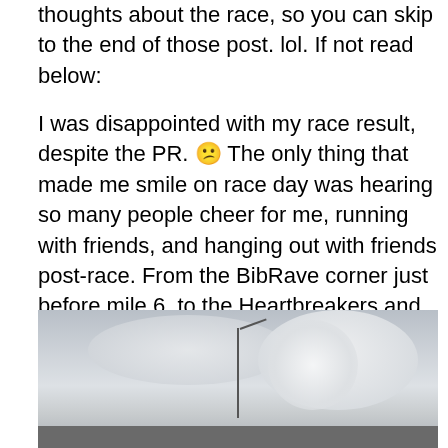thoughts about the race, so you can skip to the end of those post. lol. If not read below:
I was disappointed with my race result, despite the PR. 😕 The only thing that made me smile on race day was hearing so many people cheer for me, running with friends, and hanging out with friends post-race. From the BibRave corner just before mile 6, to the Heartbreakers and 3Run2 cheer squads around mile 7, I know without those crews I would not have had much fun. Also shoutout to Lydia, my summer internship mentor and fellow Chicago runner who got this awesome photo of me around mile 7 (before I started struggling).
[Figure (photo): Outdoor photo showing a cloudy sky with a street light pole, and a dark ground strip at the bottom.]